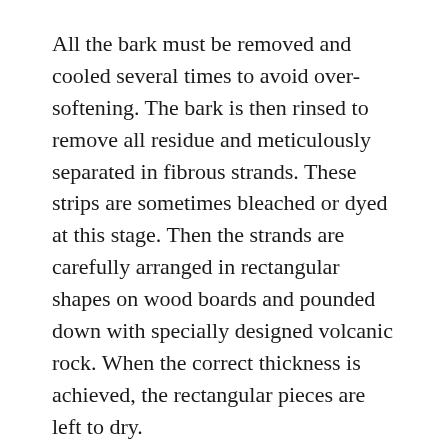All the bark must be removed and cooled several times to avoid over-softening. The bark is then rinsed to remove all residue and meticulously separated in fibrous strands. These strips are sometimes bleached or dyed at this stage. Then the strands are carefully arranged in rectangular shapes on wood boards and pounded down with specially designed volcanic rock. When the correct thickness is achieved, the rectangular pieces are left to dry.
Nowadays, amate paper is not restricted for use by shamans. The process has become commercialized, bringing much needed employment into this small community. Sheets of paper are sent to Nahua artisans for